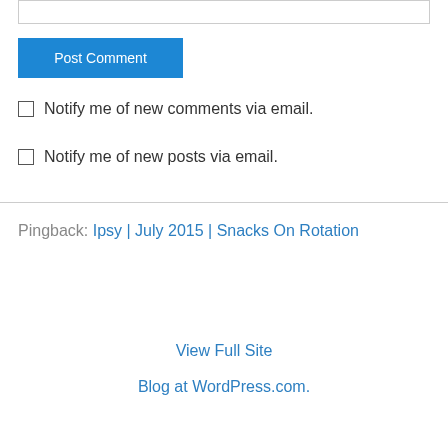[Figure (screenshot): Input text box at top of page]
Post Comment
Notify me of new comments via email.
Notify me of new posts via email.
Pingback: Ipsy | July 2015 | Snacks On Rotation
View Full Site
Blog at WordPress.com.